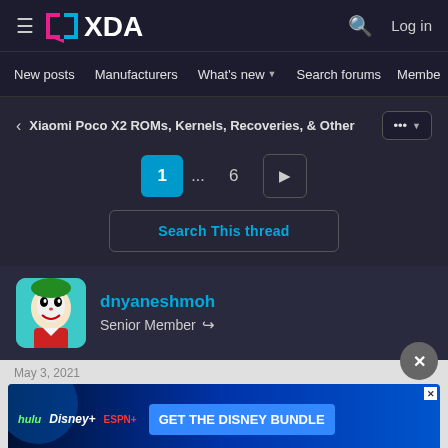[Figure (logo): XDA Developers logo with hamburger menu icon on dark header]
New posts  Manufacturers  What's new  Search forums  Membe >
< Xiaomi Poco X2 ROMs, Kernels, Recoveries, & Other
1 ... 6 >
Search This thread
dnyaneshmoh
Senior Member
[Figure (photo): Joker character avatar on teal background]
[Figure (infographic): Disney Bundle advertisement banner showing Hulu, Disney+, ESPN+ logos with GET THE DISNEY BUNDLE call to action]
Incl. Hulu (ad-supported) or Hulu (No Ads). Access content from each service separately. ©2021 Disney and its related entities